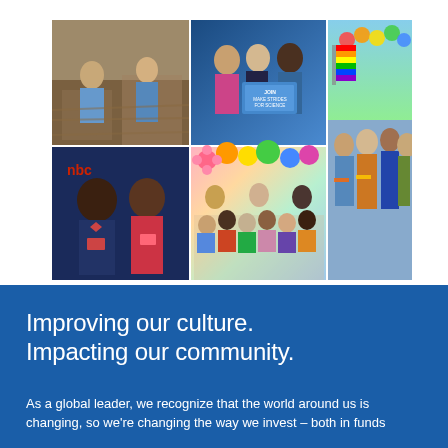[Figure (photo): A collage of six photographs showing employees volunteering and participating in community events: construction/building volunteer work, a conference with people holding a sign, a Pride parade with rainbow flags and colorful balloons, two people at a professional event, a group of children and adults at a colorful school event, and a large group at a Pride march wearing rainbow accessories.]
Improving our culture. Impacting our community.
As a global leader, we recognize that the world around us is changing, so we're changing the way we invest – both in funds